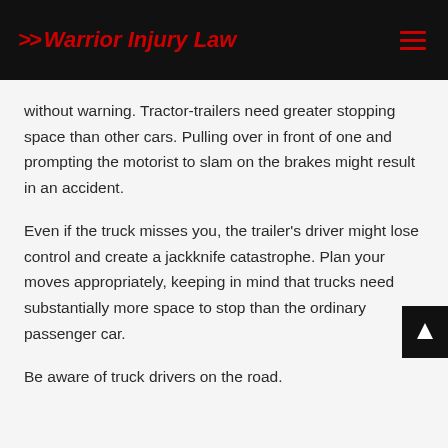>> Warrior Injury Law
without warning. Tractor-trailers need greater stopping space than other cars. Pulling over in front of one and prompting the motorist to slam on the brakes might result in an accident.
Even if the truck misses you, the trailer's driver might lose control and create a jackknife catastrophe. Plan your moves appropriately, keeping in mind that trucks need substantially more space to stop than the ordinary passenger car.
Be aware of truck drivers on the road.